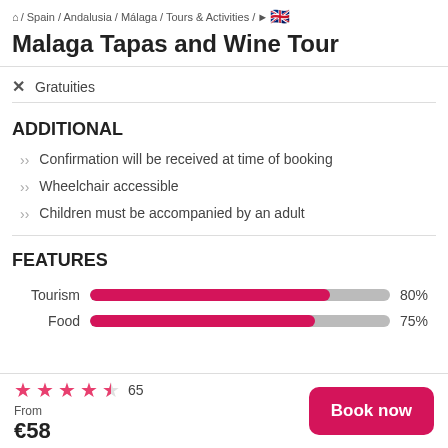⌂ / Spain / Andalusia / Málaga / Tours & Activities / ▶ 🇬🇧
Malaga Tapas and Wine Tour
Gratuities
ADDITIONAL
Confirmation will be received at time of booking
Wheelchair accessible
Children must be accompanied by an adult
FEATURES
[Figure (bar-chart): Features]
★★★★½ 65   From €58   Book now